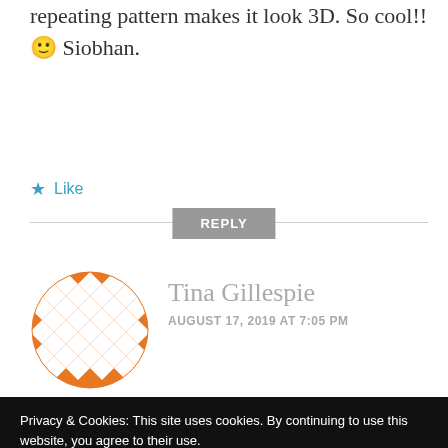repeating pattern makes it look 3D. So cool!! 🙂 Siobhan.
★ Like
REPLY
[Figure (illustration): Circular avatar with orange and white diamond/argyle pattern]
Tina Gillespie
AUGUST 17, 2019 AT 7:05 PM
Such a cool card, and what a
Privacy & Cookies: This site uses cookies. By continuing to use this website, you agree to their use.
To find out more, including how to control cookies, see here: Cookie Policy
Close and accept
★ Like